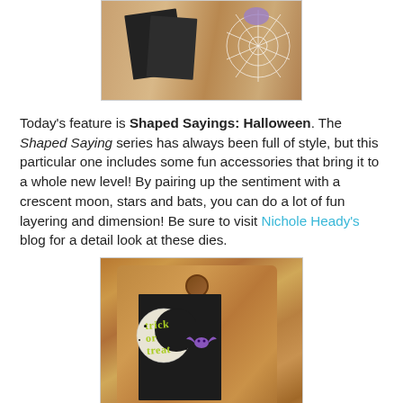[Figure (photo): Top partial photo showing dark grey cards/paper on a wooden surface with a white spider web die cut and purple decorative element, cropped at top]
Today's feature is Shaped Sayings: Halloween. The Shaped Saying series has always been full of style, but this particular one includes some fun accessories that bring it to a whole new level! By pairing up the sentiment with a crescent moon, stars and bats, you can do a lot of fun layering and dimension! Be sure to visit Nichole Heady's blog for a detail look at these dies.
[Figure (photo): Photo of a Halloween craft card with 'Trick or Treat' die cut in lime green on a crescent moon shape, with purple bat embellishments, placed on a dark grey card stock on a wooden cutting board background]